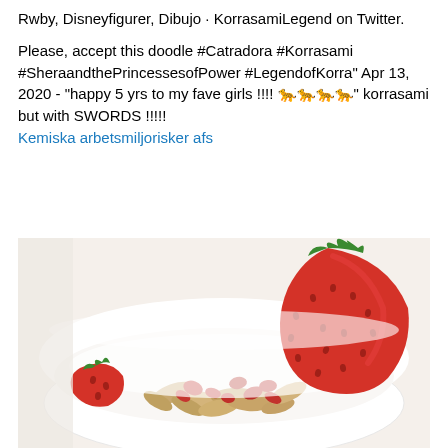Rwby, Disneyfigurer, Dibujo · KorrasamiLegend on Twitter.
Please, accept this doodle #Catradora #Korrasami #SheraandthePrincessesofPower #LegendofKorra" Apr 13, 2020 - "happy 5 yrs to my fave girls !!!! 🐆🐆🐆🐆" korrasami but with SWORDS !!!!!
Kemiska arbetsmiljorisker afs
[Figure (photo): A white bowl containing muesli/oats topped with fresh strawberries, including a large strawberry slice standing upright, on a light background.]